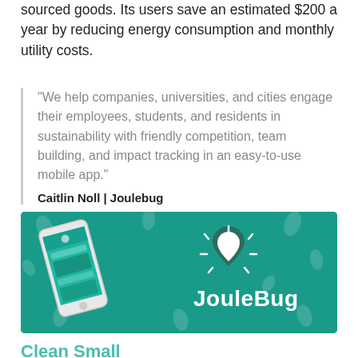sourced goods. Its users save an estimated $200 a year by reducing energy consumption and monthly utility costs.
"We help companies, universities, and cities engage their employees, students, and residents in sustainability with friendly competition, team building, and impact tracking in an easy-to-use mobile app." Caitlin Noll | Joulebug
[Figure (photo): Smartphone displaying the JouleBug app on a teal/green background with the JouleBug logo (droplet/lightning bolt icon) and wordmark 'JouleBug' in white text on the right side.]
Clean Small